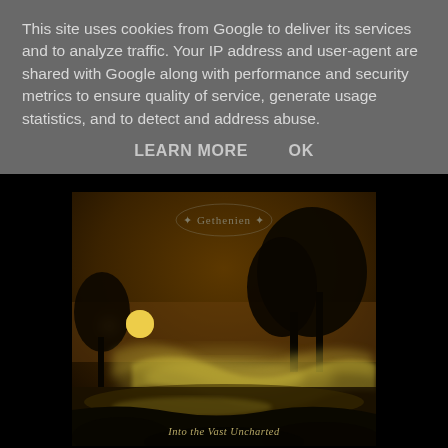This site uses cookies from Google to deliver its services and to analyze traffic. Your IP address and user-agent are shared with Google along with performance and security metrics to ensure quality of service, generate usage statistics, and to detect and address abuse.
LEARN MORE    OK
[Figure (illustration): Album cover art for 'Into the Vast Uncharted' by Gethenien (or similar black metal band). Dark atmospheric painting showing a moonlit landscape with trees, misty water/river, ghostly luminous shapes drifting across a dark brown-golden sky. A yellow moon is visible on the left. Band logo at top center in ornate script. Album title 'Into the Vast Uncharted' in gothic script at the bottom center.]